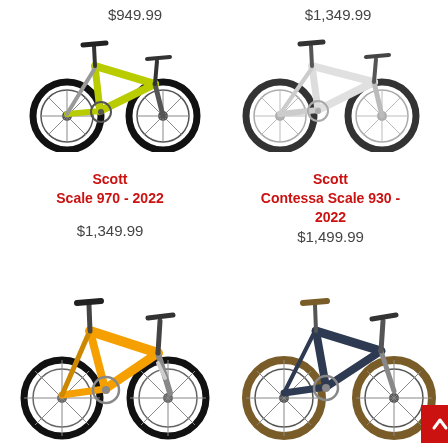$949.99
[Figure (photo): Yellow/green Scott mountain bike (hardtail)]
$1,349.99
[Figure (photo): White/silver Scott Contessa mountain bike (hardtail)]
Scott
Scale 970 - 2022
$1,349.99
Scott
Contessa Scale 930 - 2022
$1,499.99
[Figure (photo): Orange Scott full-suspension mountain bike]
[Figure (photo): Dark blue/navy Scott hardtail mountain bike with tan/brown tires]